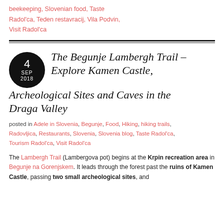beekeeping, Slovenian food, Taste Radol'ca, Teden restavracij, Vila Podvin, Visit Radol'ca
The Begunje Lambergh Trail – Explore Kamen Castle, Archeological Sites and Caves in the Draga Valley
posted in Adele in Slovenia, Begunje, Food, Hiking, hiking trails, Radovljica, Restaurants, Slovenia, Slovenia blog, Taste Radol'ca, Tourism Radol'ca, Visit Radol'ca
The Lambergh Trail (Lambergova pot) begins at the Krpin recreation area in Begunje na Gorenjskem. It leads through the forest past the ruins of Kamen Castle, passing two small archeological sites, and